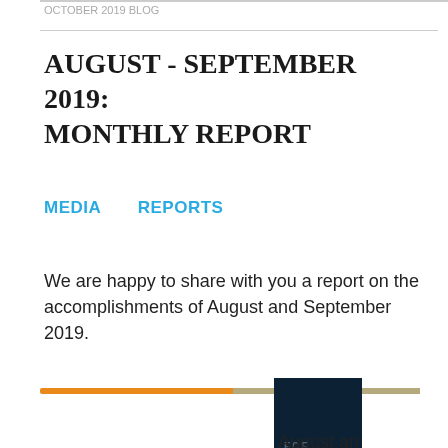OCTOBER 2019 BLOG
AUGUST - SEPTEMBER 2019: MONTHLY REPORT
MEDIA
REPORTS
We are happy to share with you a report on the accomplishments of August and September 2019.
[Figure (other): Horizontal orange and teal bar chart section]
[Figure (photo): Dark blue cover thumbnail with FCE FOOD Monthly branding and FOODCOM text at bottom]
August an